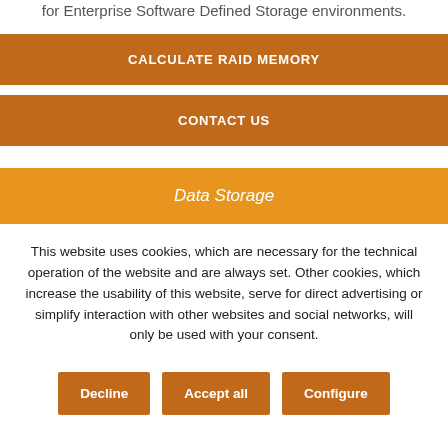designed for enterprises of all sizes, especially for Enterprise Software Defined Storage environments.
CALCULATE RAID MEMORY
CONTACT US
Data Storage
This website uses cookies, which are necessary for the technical operation of the website and are always set. Other cookies, which increase the usability of this website, serve for direct advertising or simplify interaction with other websites and social networks, will only be used with your consent.
Decline
Accept all
Configure